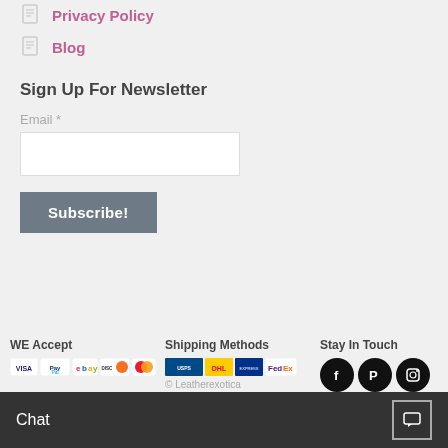Privacy Policy
Blog
Sign Up For Newsletter
Email *
Subscribe!
WE Accept
[Figure (logo): Payment method logos: Visa, PayPal, eBay, Discover, Mastercard]
Shipping Methods
[Figure (logo): Shipping carrier logos: USPS, DHL, and FedEx]
© Leatherexotica
Stay In Touch
[Figure (logo): Social media icons: Facebook, Pinterest, Instagram]
Chat